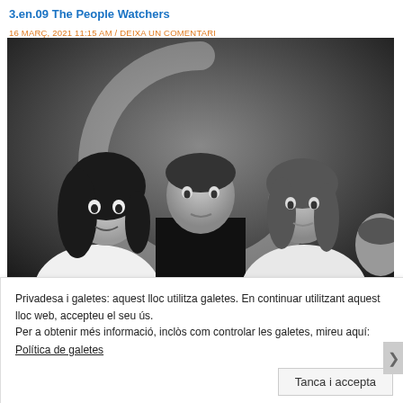3.en.09 The People Watchers
16 MARÇ, 2021 11:15 AM / DEIXA UN COMENTARI
[Figure (photo): Black and white photo of three people posing in front of a large stylized letter C logo. A woman with long dark hair is on the left, a man in a dark top stands in the center, and a woman in light clothing is on the right.]
Privadesa i galetes: aquest lloc utilitza galetes. En continuar utilitzant aquest lloc web, accepteu el seu ús.
Per a obtenir més informació, inclòs com controlar les galetes, mireu aquí:
Política de galetes
Tanca i accepta